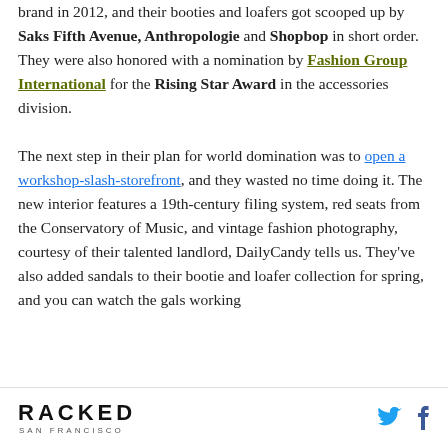brand in 2012, and their booties and loafers got scooped up by Saks Fifth Avenue, Anthropologie and Shopbop in short order. They were also honored with a nomination by Fashion Group International for the Rising Star Award in the accessories division.

The next step in their plan for world domination was to open a workshop-slash-storefront, and they wasted no time doing it. The new interior features a 19th-century filing system, red seats from the Conservatory of Music, and vintage fashion photography, courtesy of their talented landlord, DailyCandy tells us. They've also added sandals to their bootie and loafer collection for spring, and you can watch the gals working
RACKED SAN FRANCISCO